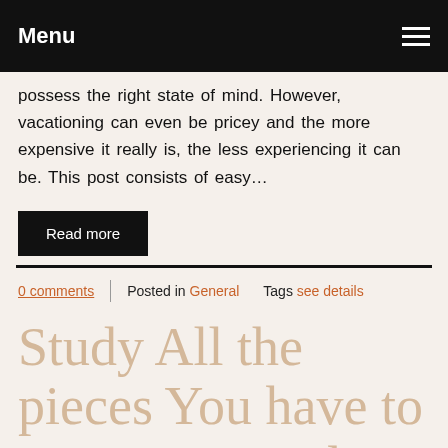Menu
possess the right state of mind. However, vacationing can even be pricey and the more expensive it really is, the less experiencing it can be. This post consists of easy…
Read more
0 comments   Posted in General   Tags see details
Study All the pieces You have to Know On Real Estate Investing